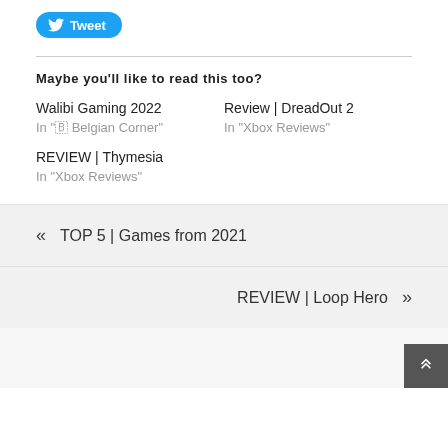[Figure (other): Twitter Tweet button with bird icon]
Maybe you'll like to read this too?
Walibi Gaming 2022
In "🇧 Belgian Corner"
Review | DreadOut 2
In "Xbox Reviews"
REVIEW | Thymesia
In "Xbox Reviews"
« TOP 5 | Games from 2021
REVIEW | Loop Hero »